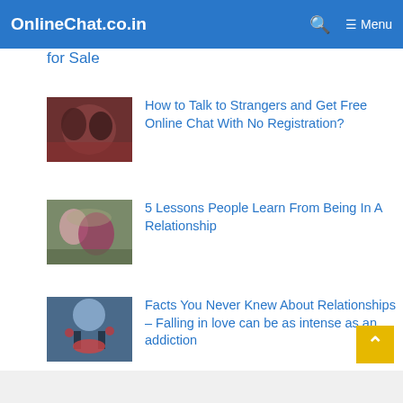OnlineChat.co.in  🔍  ≡ Menu
for Sale
How to Talk to Strangers and Get Free Online Chat With No Registration?
5 Lessons People Learn From Being In A Relationship
Facts You Never Knew About Relationships – Falling in love can be as intense as an addiction